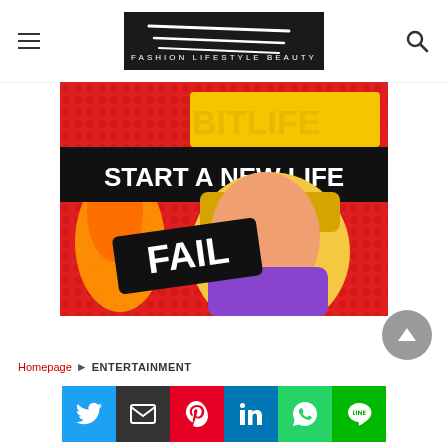FLQ (logo) with hamburger menu and search icon
[Figure (illustration): BitLife game promotional image showing 'START A NEW LIFE' text with a facepalm emoji character and 'FAIL' stamp on a red background]
Homepage ► ENTERTAINMENT
[Figure (infographic): Social sharing bar with Twitter, Email, Pinterest, LinkedIn, WhatsApp, and LINE buttons]